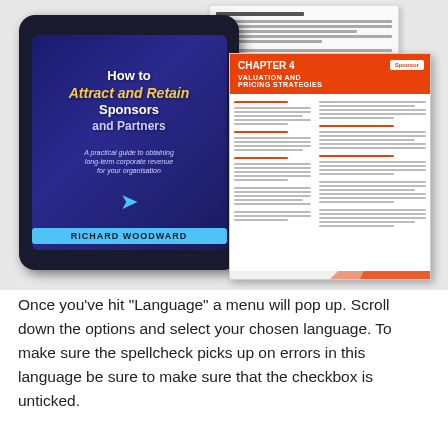[Figure (photo): Composite image showing a tablet/eBook displaying the book cover 'How to Attract and Retain Sponsors and Partners' by Richard Woodward, alongside two document pages showing book interior content including a chapter page with orange header reading 'CHAPTER 4 VALUATION AND PRICING STRATEGIES'.]
Once you've hit "Language" a menu will pop up. Scroll down the options and select your chosen language. To make sure the spellcheck picks up on errors in this language be sure to make sure that the checkbox is unticked.